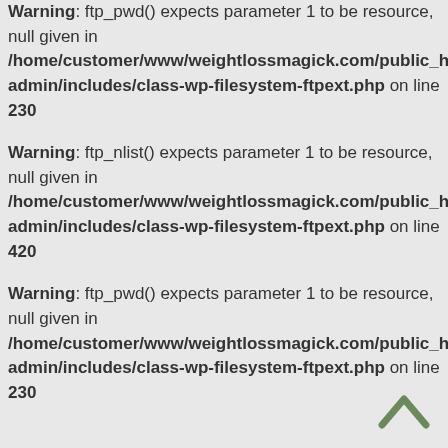Warning: ftp_pwd() expects parameter 1 to be resource, null given in /home/customer/www/weightlossmagick.com/public_html/wp-admin/includes/class-wp-filesystem-ftpext.php on line 230
Warning: ftp_nlist() expects parameter 1 to be resource, null given in /home/customer/www/weightlossmagick.com/public_html/wp-admin/includes/class-wp-filesystem-ftpext.php on line 420
Warning: ftp_pwd() expects parameter 1 to be resource, null given in /home/customer/www/weightlossmagick.com/public_html/wp-admin/includes/class-wp-filesystem-ftpext.php on line 230